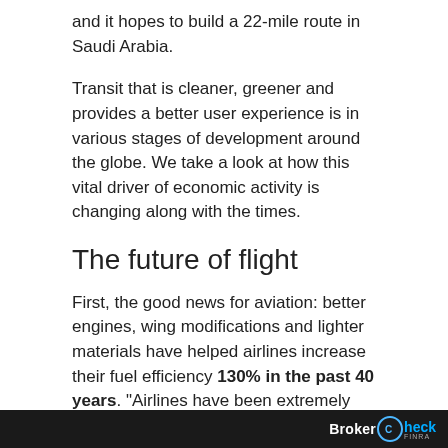and it hopes to build a 22-mile route in Saudi Arabia.
Transit that is cleaner, greener and provides a better user experience is in various stages of development around the globe. We take a look at how this vital driver of economic activity is changing along with the times.
The future of flight
First, the good news for aviation: better engines, wing modifications and lighter materials have helped airlines increase their fuel efficiency 130% in the past 40 years. “Airlines have been extremely focused on this,” says Savanthi Syth, managing director and airline analyst at Raymond James. In addition to updating their fleets, “they’re using data and technology to
BrokerCheck FINRA